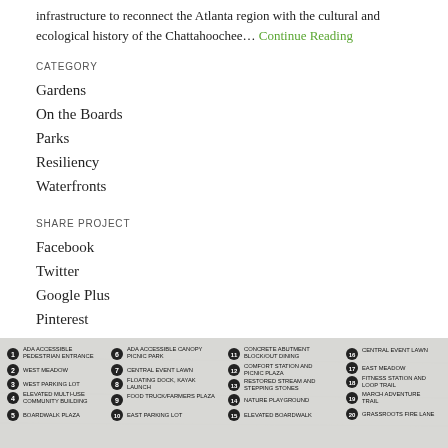infrastructure to reconnect the Atlanta region with the cultural and ecological history of the Chattahoochee... Continue Reading
CATEGORY
Gardens
On the Boards
Parks
Resiliency
Waterfronts
SHARE PROJECT
Facebook
Twitter
Google Plus
Pinterest
[Figure (map): Site map legend showing numbered locations including ADA Accessible Pedestrian Entrance, West Meadow, West Parking Lot, Elevated Multi-Use Community Building, Boardwalk Plaza, ADA Accessible Canopy Picnic Park, Central Event Lawn, Floating Dock Kayak Launch, Food Truck/Farmers Plaza, East Parking Lot, Concrete Abutment Block/Out Dining, Comfort Station and Picnic Plaza, Restored Stream and Stepping Stones, Nature Playground, Elevated Boardwalk, Central Event Lawn, East Meadow, Fitness Station and Loop Trail, March Adventure Trail, Grassroots Fire Lane]